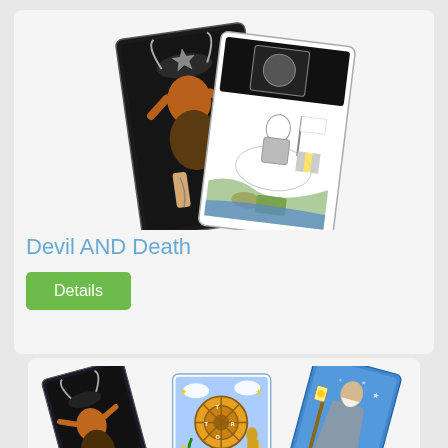[Figure (illustration): Two tarot cards: The Devil card showing horned demon with chained figures, and Death card showing armored skeleton on horseback]
Devil AND Death
Details
[Figure (illustration): Three tarot cards fanned out: The Devil card, Wheel of Fortune card, and The Hermit card]